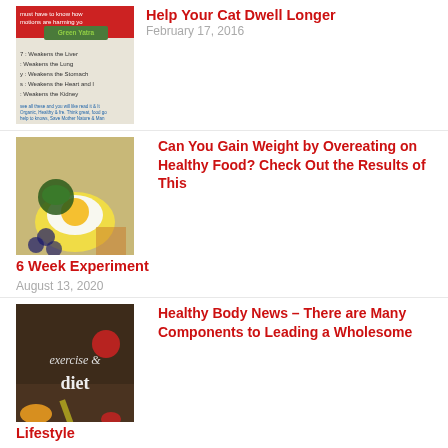[Figure (photo): Thumbnail image with Green Yatra logo and text about emotions harming you, listing items that weaken liver, lung, stomach, heart, kidney]
Help Your Cat Dwell Longer
February 17, 2016
[Figure (photo): Food photo showing fried egg, avocado, blueberries and other healthy foods]
Can You Gain Weight by Overeating on Healthy Food? Check Out the Results of This 6 Week Experiment
August 13, 2020
[Figure (photo): Dark wood background with text 'exercise & diet' with vegetables and measuring tape]
Healthy Body News – There are Many Components to Leading a Wholesome Lifestyle
June 18, 2020
[Figure (photo): Hand holding supplements/pills]
Fitness Supplements – Critical Factors That